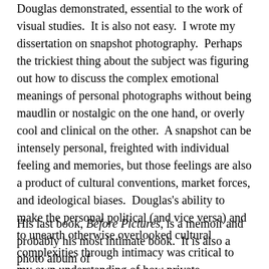Douglas demonstrated, essential to the work of visual studies. It is also not easy. I wrote my dissertation on snapshot photography. Perhaps the trickiest thing about the subject was figuring out how to discuss the complex emotional meanings of personal photographs without being maudlin or nostalgic on the one hand, or overly cool and clinical on the other. A snapshot can be intensely personal, freighted with individual feeling and memories, but those feelings are also a product of cultural conventions, market forces, and ideological biases. Douglas's ability to make the personal political (and vice versa) and to unearth otherwise overlooked cultural complexities through intimacy was critical to my own understanding of how private photographs take on public meanings.
His last book, Before Pictures, is a memoir and probably his most intimate book. It is also a photo album of